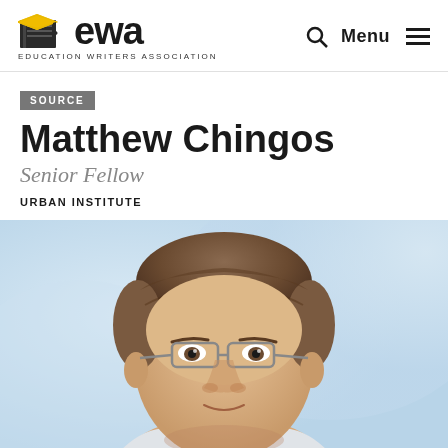ewa EDUCATION WRITERS ASSOCIATION
SOURCE
Matthew Chingos
Senior Fellow
URBAN INSTITUTE
[Figure (photo): Headshot photo of Matthew Chingos, a man with short brown hair and glasses, photographed against a blurred light background]